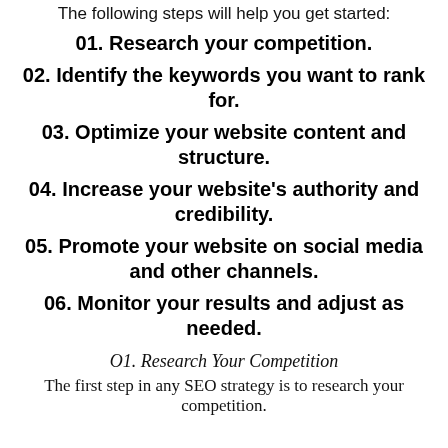The following steps will help you get started:
01. Research your competition.
02. Identify the keywords you want to rank for.
03. Optimize your website content and structure.
04. Increase your website's authority and credibility.
05. Promote your website on social media and other channels.
06. Monitor your results and adjust as needed.
O1. Research Your Competition
The first step in any SEO strategy is to research your competition.